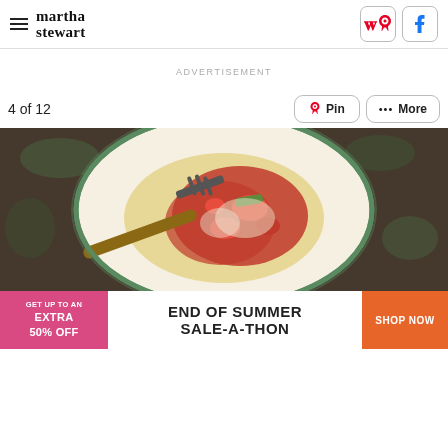martha stewart
ADVERTISEMENT
4 of 12
[Figure (photo): A plate of polenta topped with tomato sauce and vegetables, garnished with grated cheese, with a fork resting on the plate, on a dark rustic background.]
[Figure (photo): Advertisement banner: GET UP TO AN EXTRA 50% OFF — END OF SUMMER SALE-A-THON — SHOP NOW]